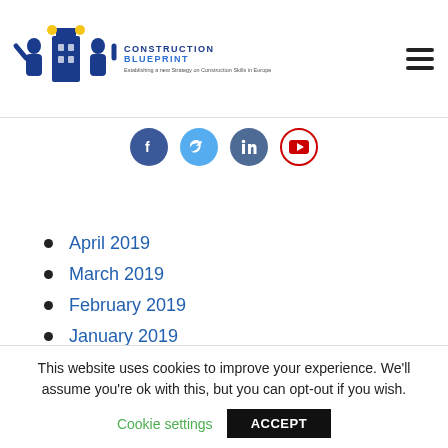Construction Blueprint — Establishing a new Strategy on Construction Skills in Europe
[Figure (logo): Construction Blueprint logo with blue building/people silhouette and yellow accents]
[Figure (infographic): Social media icons row: Facebook (dark blue circle), Twitter (light blue circle), LinkedIn (medium blue circle), YouTube (white circle with red border)]
April 2019
March 2019
February 2019
January 2019
November 2018
October 2018
September 2018
This website uses cookies to improve your experience. We'll assume you're ok with this, but you can opt-out if you wish.
Cookie settings | ACCEPT